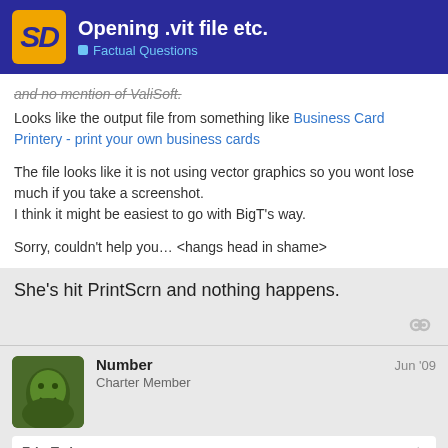Opening .vit file etc. | Factual Questions
and no mention of ValiSoft. Looks like the output file from something like Business Card Printery - print your own business cards
The file looks like it is not using vector graphics so you wont lose much if you take a screenshot.
I think it might be easiest to go with BigT's way.

Sorry, couldn't help you… <hangs head in shame>
She's hit PrintScrn and nothing happens.
Number
Charter Member
Jun '09
FriarTed:
She's hit PrintScrn and nothing happens
8 / 10